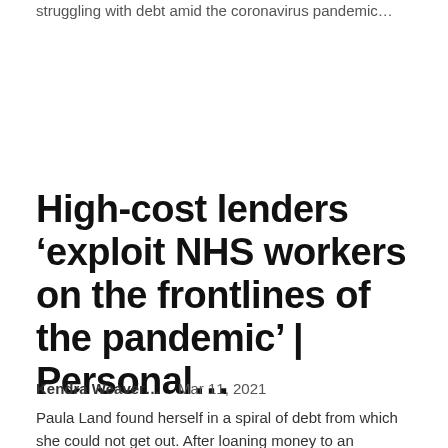struggling with debt amid the coronavirus pandemic…
High-cost lenders 'exploit NHS workers on the frontlines of the pandemic' | Personal…
Kendra Weaver…   Mar 11, 2021
Paula Land found herself in a spiral of debt from which she could not get out. After loaning money to an acquaintance that was not repaid in 2016, the NHS nurse was forced to go to payday lenders so that she could pay her bills.But to pay…